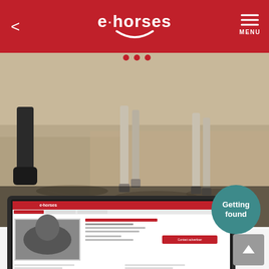e·horses — MENU navigation header
[Figure (photo): Horse legs visible in a sandy arena/paddock, close-up ground-level photo showing hooves and lower legs]
Stallion 1 year
price range ~£2.164 to £4.328
Stop looking and be found instead
With your personal request in search of the horse of your dreams.
[Figure (screenshot): Laptop screen showing e·horses website with a horse listing page, including a black-and-white photo of a horse, listing details, and a teal 'Getting found' circle badge overlay]
Getting found